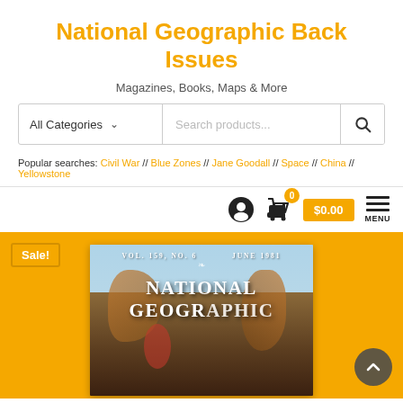National Geographic Back Issues
Magazines, Books, Maps & More
[Figure (screenshot): Search bar with All Categories dropdown and search products input field with magnifying glass icon]
Popular searches: Civil War // Blue Zones // Jane Goodall // Space // China // Yellowstone
[Figure (screenshot): Navigation bar with user account icon, shopping cart with badge showing 0 and $0.00 price, and hamburger menu labeled MENU]
[Figure (photo): National Geographic magazine cover Vol. 159, No. 6, June 1981 showing a Native American headdress with feathers, with Sale! badge overlay and NATIONAL GEOGRAPHIC text visible]